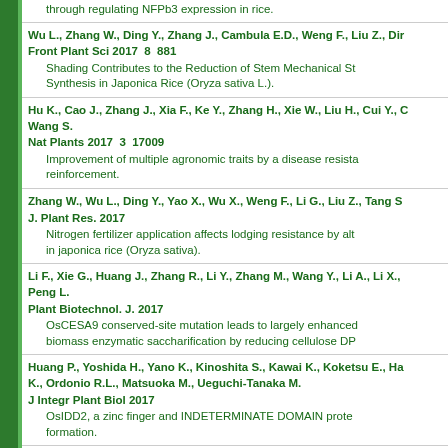through regulating NFPb3 expression in rice.
Wu L., Zhang W., Ding Y., Zhang J., Cambula E.D., Weng F., Liu Z., Din...
Front Plant Sci 2017  8  881
Shading Contributes to the Reduction of Stem Mechanical St... Synthesis in Japonica Rice (Oryza sativa L.).
Hu K., Cao J., Zhang J., Xia F., Ke Y., Zhang H., Xie W., Liu H., Cui Y., C... Wang S.
Nat Plants 2017  3  17009
Improvement of multiple agronomic traits by a disease resista... reinforcement.
Zhang W., Wu L., Ding Y., Yao X., Wu X., Weng F., Li G., Liu Z., Tang S...
J. Plant Res. 2017
Nitrogen fertilizer application affects lodging resistance by alt... in japonica rice (Oryza sativa).
Li F., Xie G., Huang J., Zhang R., Li Y., Zhang M., Wang Y., Li A., Li X., ... Peng L.
Plant Biotechnol. J. 2017
OsCESA9 conserved-site mutation leads to largely enhanced... biomass enzymatic saccharification by reducing cellulose DP...
Huang P., Yoshida H., Yano K., Kinoshita S., Kawai K., Koketsu E., Ha... K., Ordonio R.L., Matsuoka M., Ueguchi-Tanaka M.
J Integr Plant Biol 2017
OsIDD2, a zinc finger and INDETERMINATE DOMAIN prote... formation.
Schneider R., Tang L., Lampugnani E.R., Barkwill S., Lathe R., Zhang... T., Mansfield S.D., Zhou Y., Persson S.
Plant Cell 2017  29(10)  2433-2449
Two Complementary Mechanisms Underpin Cell Wall Pattern...